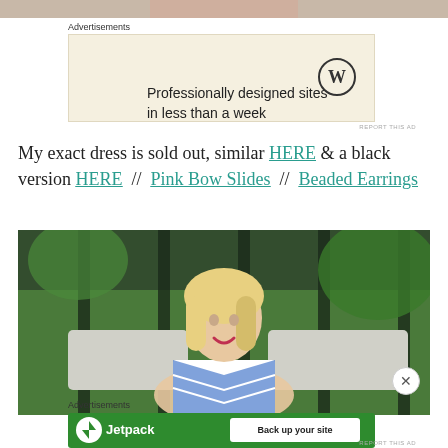[Figure (photo): Cropped top portion of a photo showing hands/feet area]
Advertisements
[Figure (screenshot): WordPress advertisement: 'Professionally designed sites in less than a week' with WordPress logo]
My exact dress is sold out, similar HERE & a black version HERE // Pink Bow Slides // Beaded Earrings
[Figure (photo): Blonde woman in blue and white chevron dress sitting on outdoor bench with cushions, surrounded by green foliage]
Advertisements
[Figure (screenshot): Jetpack advertisement: 'Back up your site' green banner ad]